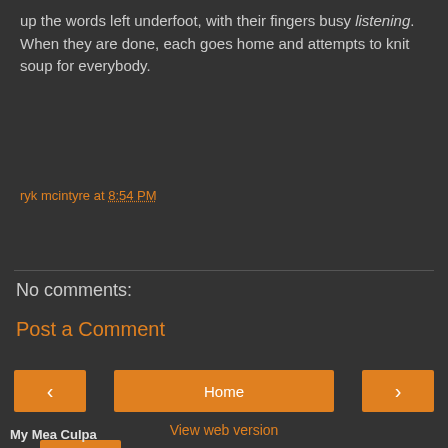up the words left underfoot, with their fingers busy listening. When they are done, each goes home and attempts to knit soup for everybody.
ryk mcintyre at 8:54 PM
Share
No comments:
Post a Comment
‹  Home  ›
View web version
My Mea Culpa